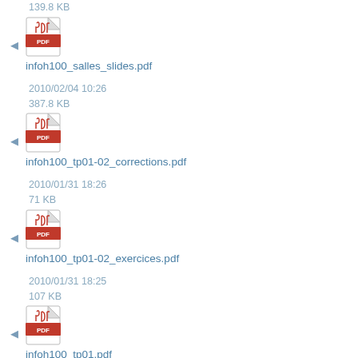139.8 KB
[Figure (illustration): PDF file icon]
infoh100_salles_slides.pdf
2010/02/04 10:26
387.8 KB
[Figure (illustration): PDF file icon]
infoh100_tp01-02_corrections.pdf
2010/01/31 18:26
71 KB
[Figure (illustration): PDF file icon]
infoh100_tp01-02_exercices.pdf
2010/01/31 18:25
107 KB
[Figure (illustration): PDF file icon]
infoh100_tp01.pdf
2009/02/17 11:01
112 KB